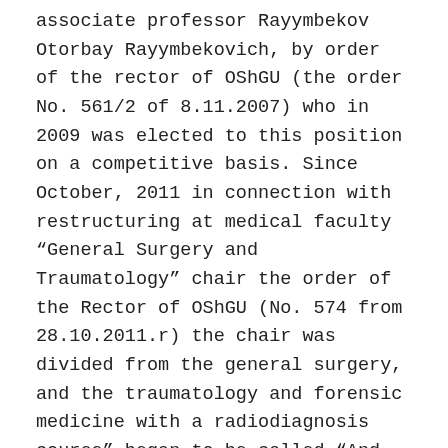associate professor Rayymbekov Otorbay Rayymbekovich, by order of the rector of OShGU (the order No. 561/2 of 8.11.2007) who in 2009 was elected to this position on a competitive basis. Since October, 2011 in connection with restructuring at medical faculty “General Surgery and Traumatology” chair the order of the Rector of OShGU (No. 574 from 28.10.2011.r) the chair was divided from the general surgery, and the traumatology and forensic medicine with a radiodiagnosis course” began to be called “And the head of the department executing duty the candidate of medical sciences, associate professor Ydyrysov Ismatilla Toktosunovich is appointed. The “Traumatology and Forensic Medicine with a Radiodiagnosis Course” chair to be on the basis of